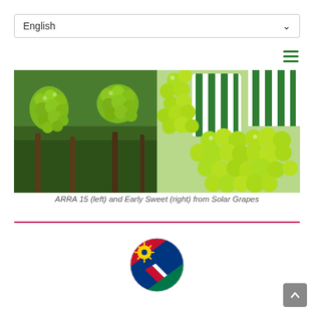English
[Figure (photo): Side-by-side photos of green grape varieties: ARRA 15 on the left (grapes hanging on vine in vineyard) and Early Sweet on the right (grapes in green and white striped bags)]
ARRA 15 (left) and Early Sweet (right) from Solar Grapes
[Figure (illustration): Circular Namibia flag icon]